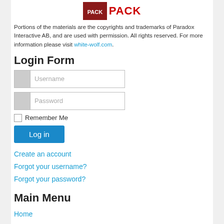[Figure (logo): Website logo showing a dark image and the word PACK in red bold text]
Portions of the materials are the copyrights and trademarks of Paradox Interactive AB, and are used with permission. All rights reserved. For more information please visit white-wolf.com.
Login Form
[Figure (screenshot): Login form with Username input field]
[Figure (screenshot): Login form with Password input field]
Remember Me
Log in
Create an account
Forgot your username?
Forgot your password?
Main Menu
Home
Vampire: Elder Kindred Network
What is V:TES?
V:EKN FAQ
VEKN Newsletters